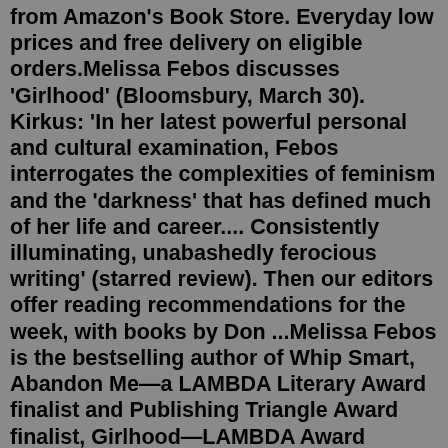from Amazon's Book Store. Everyday low prices and free delivery on eligible orders.Melissa Febos discusses 'Girlhood' (Bloomsbury, March 30). Kirkus: 'In her latest powerful personal and cultural examination, Febos interrogates the complexities of feminism and the 'darkness' that has defined much of her life and career.... Consistently illuminating, unabashedly ferocious writing' (starred review). Then our editors offer reading recommendations for the week, with books by Don ...Melissa Febos is the bestselling author of Whip Smart, Abandon Me—a LAMBDA Literary Award finalist and Publishing Triangle Award finalist, Girlhood—LAMBDA Award finalist, and winner of the National Book Critics Circle Award in Criticism, and Body Work: The Radical Power of Personal Narrative. She is a recipient of awards and fellowships from The Guggenheim Foundation, […] Melissa Febos is the author of the memoir Whip Smart, the essay collection, Abandon Me, and a craft book, Body Work.A 2022 Guggenheim Fellow, she is